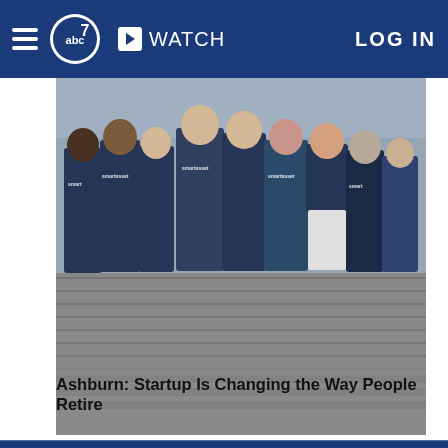abc7 | WATCH | LOG IN
[Figure (photo): Group of people wearing SmartAsset branded t-shirts standing on a cobblestone street]
Ashburn: Startup Is Changing the Way People Retire
SmartAsset
Home
AccuWeather
Traffic
Local News